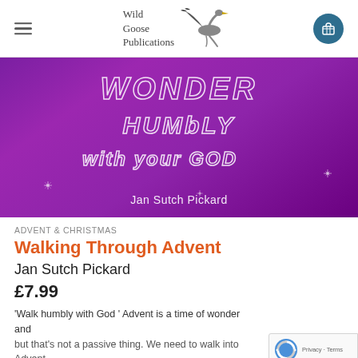Wild Goose Publications
[Figure (photo): Book cover for 'Walking Through Advent' by Jan Sutch Pickard — purple/violet gradient background with stylized hand-drawn text reading 'WONDER HUMBLY WITH YOUR GOD' in white, and the author name 'Jan Sutch Pickard' at the bottom.]
ADVENT & CHRISTMAS
Walking Through Advent
Jan Sutch Pickard
£7.99
'Walk humbly with God ' Advent is a time of wonder and but that's not a passive thing. We need to walk into Advent